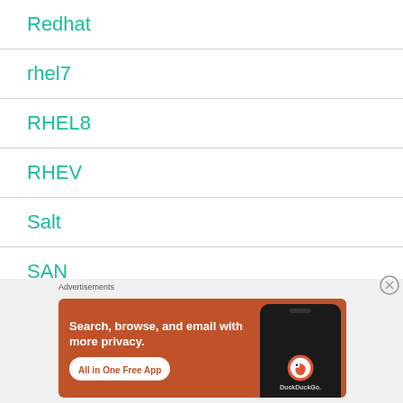Redhat
rhel7
RHEL8
RHEV
Salt
SAN
[Figure (screenshot): DuckDuckGo advertisement banner: orange background with text 'Search, browse, and email with more privacy. All in One Free App' and a phone image with DuckDuckGo logo.]